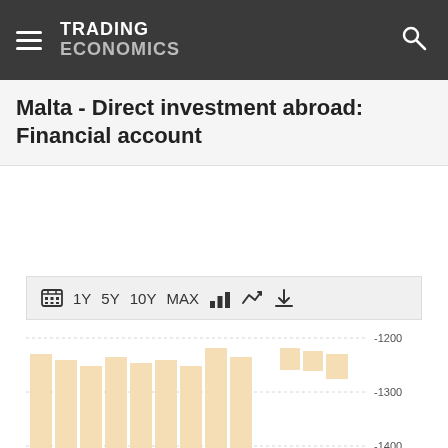TRADING ECONOMICS
Malta - Direct investment abroad: Financial account
[Figure (bar-chart): Bar chart showing Malta direct investment abroad financial account values ranging approximately from -1200 to -1450, with bars mostly around -1200 to -1300 level and one deep bar around -1450]